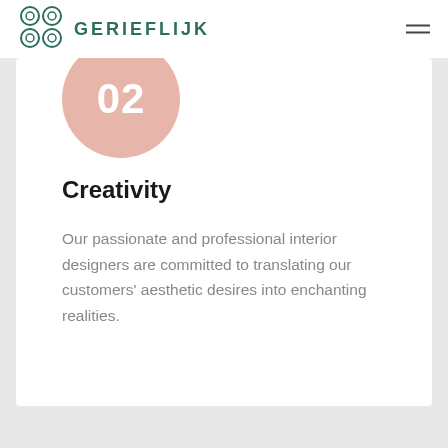GERIEFLIJK
[Figure (logo): Gerieflijk logo with decorative four-circle geometric icon in teal/dark green and GERIEFLIJK text]
02
Creativity
Our passionate and professional interior designers are committed to translating our customers' aesthetic desires into enchanting realities.